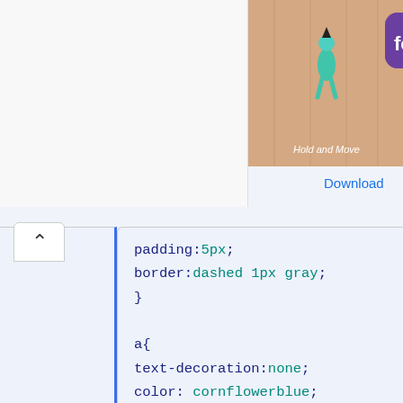[Figure (screenshot): Ad banner showing a mobile game 'Hold and Move' with a bowling-style character on a wooden lane, alongside Follic app icon and Download button]
padding:5px;
border:dashed 1px gray;
}

a{
text-decoration:none;
color: cornflowerblue;
}

i{
color: cornflowerblue;
}
ul{
line-height: 32px;